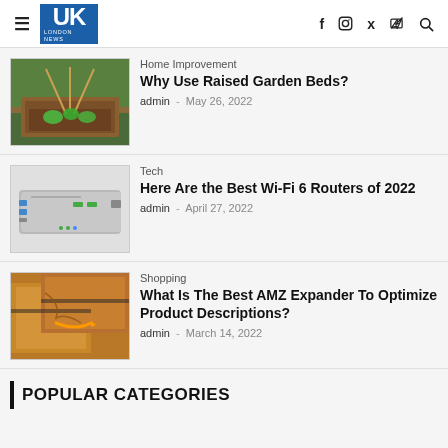UK London News
[Figure (photo): Garden raised bed with plants and bamboo poles]
Home Improvement
Why Use Raised Garden Beds?
admin - May 26, 2022
[Figure (photo): Silver compact network device/router with ports]
Tech
Here Are the Best Wi-Fi 6 Routers of 2022
admin - April 27, 2022
[Figure (photo): Amazon cardboard boxes stacked]
Shopping
What Is The Best AMZ Expander To Optimize Product Descriptions?
admin - March 14, 2022
POPULAR CATEGORIES